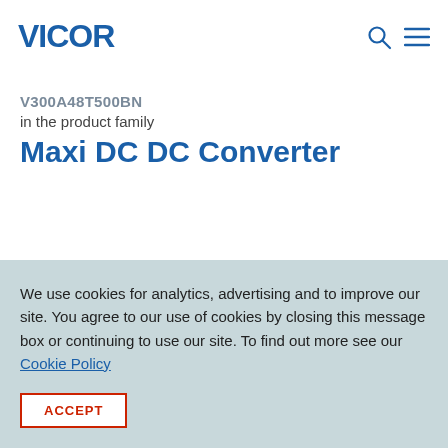VICOR
V300A48T500BN
in the product family
Maxi DC DC Converter
We use cookies for analytics, advertising and to improve our site. You agree to our use of cookies by closing this message box or continuing to use our site. To find out more see our Cookie Policy
ACCEPT